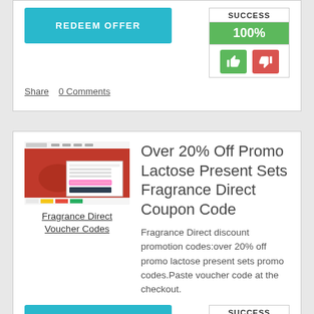[Figure (screenshot): Redeem Offer button (teal) on left, SUCCESS box with 100% in green and thumbs up/down icons on right]
Share   0 Comments
Over 20% Off Promo Lactose Present Sets Fragrance Direct Coupon Code
[Figure (screenshot): Fragrance Direct website screenshot showing red promotional page with sunglasses model and popup dialog]
Fragrance Direct Voucher Codes
Fragrance Direct discount promotion codes:over 20% off promo lactose present sets promo codes.Paste voucher code at the checkout.
[Figure (infographic): Redeem Offer button (teal) and SUCCESS box with 100% in green]